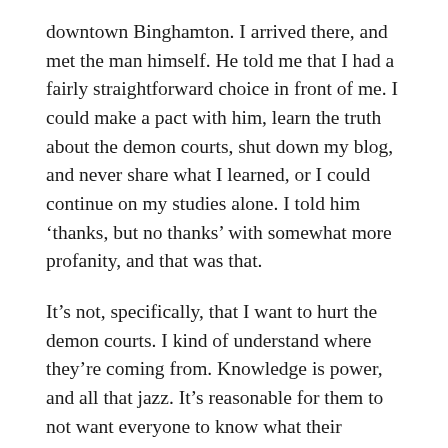downtown Binghamton. I arrived there, and met the man himself. He told me that I had a fairly straightforward choice in front of me. I could make a pact with him, learn the truth about the demon courts, shut down my blog, and never share what I learned, or I could continue on my studies alone. I told him ‘thanks, but no thanks’ with somewhat more profanity, and that was that.
It’s not, specifically, that I want to hurt the demon courts. I kind of understand where they’re coming from. Knowledge is power, and all that jazz. It’s reasonable for them to not want everyone to know what their capabilities are. They’ve probably got good reason to fear humans, and lots of people want to keep their secrets just because that’s how they do things. But I don’t agree with that.